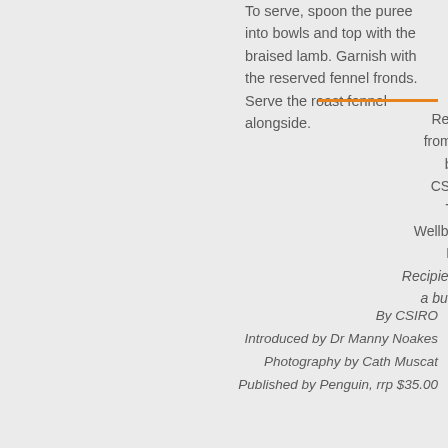To serve, spoon the puree into bowls and top with the braised lamb. Garnish with the reserved fennel fronds. Serve the roast fennel alongside.
Recipe from the book CSIRO Total Wellbeing Diet: Recipies on a budget
By CSIRO
Introduced by Dr Manny Noakes
Photography by Cath Muscat
Published by Penguin, rrp $35.00